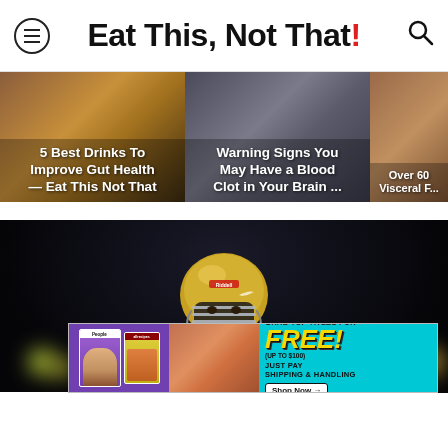Eat This, Not That!
[Figure (photo): Thumbnail: 5 Best Drinks To Improve Gut Health — Eat This Not That]
[Figure (photo): Thumbnail: Warning Signs You May Have a Blood Clot in Your Brain ...]
[Figure (photo): Thumbnail: Over 60 Visceral F...]
[Figure (photo): Football player wearing gold helmet and teal jersey with number 0, pointing at camera, night game]
[Figure (infographic): Advertisement: People and allrecipes magazines. Grab top titles for FREE! (Up to $100). Just pay shipping & handling. Shop Now arrow.]
If You
Best N...